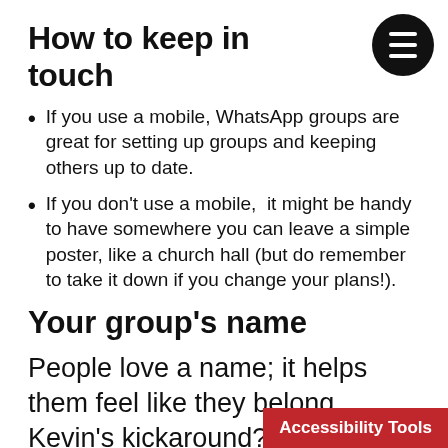How to keep in touch
If you use a mobile, WhatsApp groups are great for setting up groups and keeping others up to date.
If you don't use a mobile,  it might be handy to have somewhere you can leave a simple poster, like a church hall (but do remember to take it down if you change your plans!).
Your group's name
People love a name; it helps them feel like they belong.  Kevin's kickaround?  Jayshree's joggers?  We…